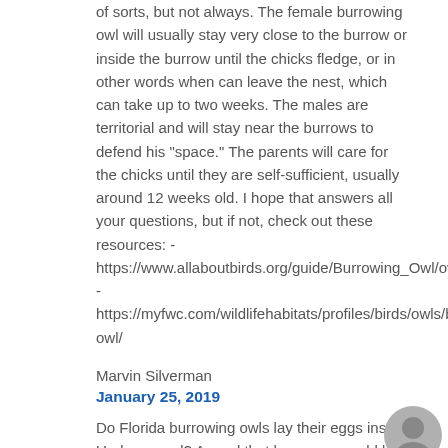of sorts, but not always. The female burrowing owl will usually stay very close to the burrow or inside the burrow until the chicks fledge, or in other words when can leave the nest, which can take up to two weeks. The males are territorial and will stay near the burrows to defend his "space." The parents will care for the chicks until they are self-sufficient, usually around 12 weeks old. I hope that answers all your questions, but if not, check out these resources: - https://www.allaboutbirds.org/guide/Burrowing_Owl/overview - https://myfwc.com/wildlifehabitats/profiles/birds/owls/burrowing-owl/
Marvin Silverman
January 25, 2019
Do Florida burrowing owls lay their eggs inside Underground? An owl that has eggs would be alone or with its mate?
Shannon Carnevale